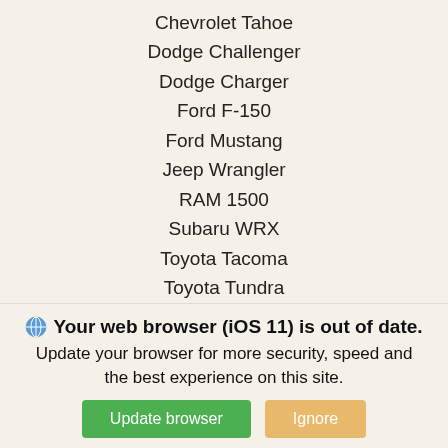Chevrolet Tahoe
Dodge Challenger
Dodge Charger
Ford F-150
Ford Mustang
Jeep Wrangler
RAM 1500
Subaru WRX
Toyota Tacoma
Toyota Tundra
[Figure (screenshot): Search input field with placeholder text 'Rav4' and a black search button with magnifying glass icon]
Connect with us
[Figure (logo): Facebook logo icon in black square]
Websites Powered By
[Figure (logo): Fox Dealer logo with orange wing icon]
Your web browser (iOS 11) is out of date. Update your browser for more security, speed and the best experience on this site.
[Figure (screenshot): Update browser button (green) and Ignore button (orange)]